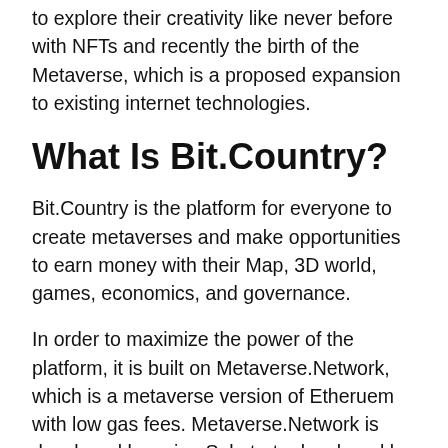to explore their creativity like never before with NFTs and recently the birth of the Metaverse, which is a proposed expansion to existing internet technologies.
What Is Bit.Country?
Bit.Country is the platform for everyone to create metaverses and make opportunities to earn money with their Map, 3D world, games, economics, and governance.
In order to maximize the power of the platform, it is built on Metaverse.Network, which is a metaverse version of Etheruem with low gas fees. Metaverse.Network is developed by using Substrate developed by Parity on the Polkadot ecosystem.
The team behind Bit.Country would like to bring a new paradigm in Web3 for anyone. The platform allows community owners to create a perpetual world for their